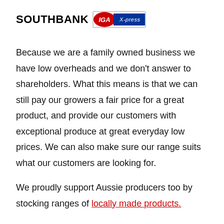[Figure (logo): Southbank IGA Xpress logo: bold black SOUTHBANK text followed by IGA oval red badge and blue Xpress banner]
Because we are a family owned business we have low overheads and we don't answer to shareholders. What this means is that we can still pay our growers a fair price for a great product, and provide our customers with exceptional produce at great everyday low prices. We can also make sure our range suits what our customers are looking for.

We proudly support Aussie producers too by stocking ranges of locally made products.

We actively participate in the communities around